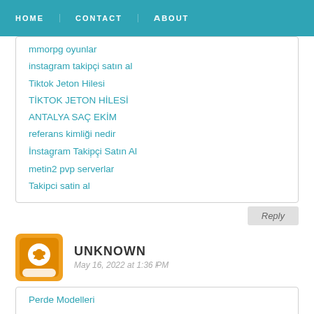HOME  CONTACT  ABOUT
mmorpg oyunlar
instagram takipçi satın al
Tiktok Jeton Hilesi
TİKTOK JETON HİLESİ
ANTALYA SAÇ EKİM
referans kimliği nedir
İnstagram Takipçi Satın Al
metin2 pvp serverlar
Takipci satin al
Reply
UNKNOWN
May 16, 2022 at 1:36 PM
Perde Modelleri
sms onay
mobil ödeme bozdurma